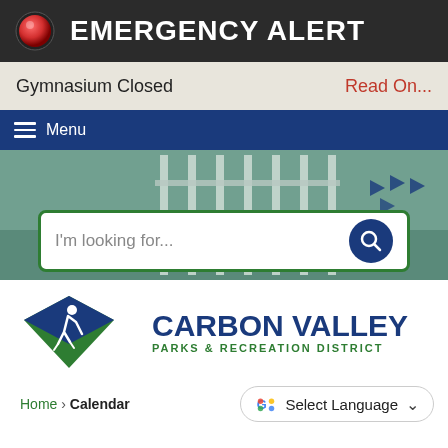EMERGENCY ALERT
Gymnasium Closed
Read On...
Menu
[Figure (screenshot): Gymnasium interior with large windows and pennant flags hanging from ceiling]
I'm looking for...
[Figure (logo): Carbon Valley Parks & Recreation District logo with diamond mountain/runner icon in blue and green, bold navy text CARBON VALLEY, green text PARKS & RECREATION DISTRICT]
Home › Calendar
Select Language